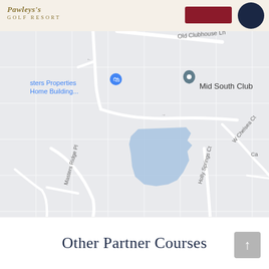Golf Resort
[Figure (map): Google Maps screenshot showing Mid South Club location with road labels: Old Clubhouse Ln, Masters Ridge Pl, W Chelsea Ct, Holly Springs Ct. Blue water feature visible in center. Map pins for 'sters Properties Home Building...' and 'Mid South Club'.]
Other Partner Courses